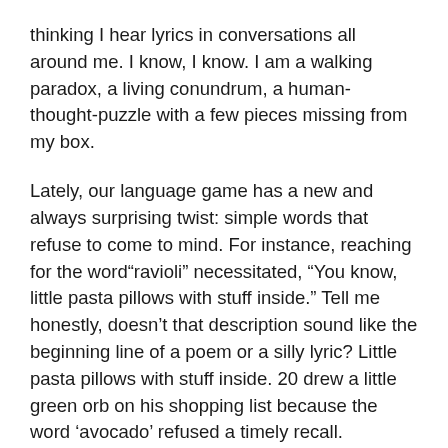thinking I hear lyrics in conversations all around me. I know, I know. I am a walking paradox, a living conundrum, a human-thought-puzzle with a few pieces missing from my box.
Lately, our language game has a new and always surprising twist: simple words that refuse to come to mind. For instance, reaching for the word“ravioli” necessitated, “You know, little pasta pillows with stuff inside.” Tell me honestly, doesn’t that description sound like the beginning line of a poem or a silly lyric? Little pasta pillows with stuff inside. 20 drew a little green orb on his shopping list because the word ‘avocado’ refused a timely recall.
I was on the ground howling with laughter when Kerri’s brain refused to pull a word from the abyss. Twisting her wrist back and forth, making a Tin-Man-esque-joint-with-